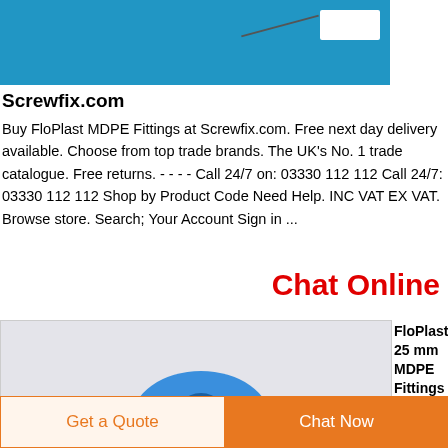[Figure (photo): Photo of MDPE fitting/pipe on blue background with white connector piece and cable]
Screwfix.com
Buy FloPlast MDPE Fittings at Screwfix.com. Free next day delivery available. Choose from top trade brands. The UK’s No. 1 trade catalogue. Free returns. - - - - Call 24/7 on: 03330 112 112 Call 24/7: 03330 112 112 Shop by Product Code Need Help. INC VAT EX VAT. Browse store. Search; Your Account Sign in ...
Chat Online
[Figure (photo): Photo of a blue MDPE 25mm stopcock/valve fitting with teal compression olive and white body]
FloPlast 25 mm MDPE Fittings | MDPE |
Get a Quote
Chat Now